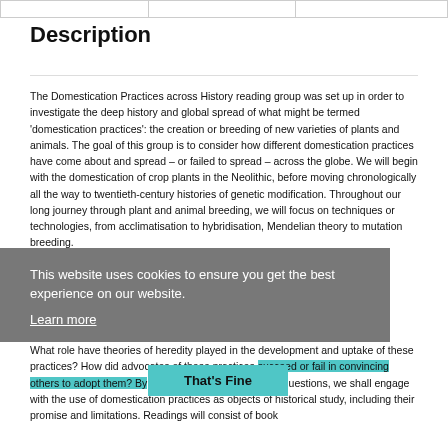|  |  |  |
| --- | --- | --- |
|  |  |  |
Description
The Domestication Practices across History reading group was set up in order to investigate the deep history and global spread of what might be termed ‘domestication practices’: the creation or breeding of new varieties of plants and animals. The goal of this group is to consider how different domestication practices have come about and spread – or failed to spread – across the globe. We will begin with the domestication of crop plants in the Neolithic, before moving chronologically all the way to twentieth-century histories of genetic modification. Throughout our long journey through plant and animal breeding, we will focus on techniques or technologies, from acclimatisation to hybridisation, Mendelian theory to mutation breeding.
This website uses cookies to ensure you get the best experience on our website. Learn more
What role have theories of heredity played in the development and uptake of these practices? How did advocates of these practices succeed or fail in convincing others to adopt them? By considering these and other questions, we shall engage with the use of domestication practices as objects of historical study, including their promise and limitations. Readings will consist of book